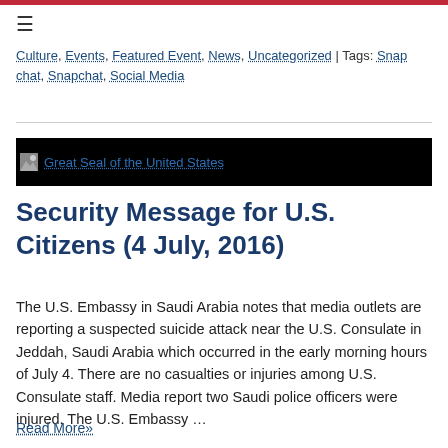≡
Culture, Events, Featured Event, News, Uncategorized | Tags: Snapchat, Snapchat, Social Media
[Figure (photo): Great Seal of the United States image on black background]
Security Message for U.S. Citizens (4 July, 2016)
The U.S. Embassy in Saudi Arabia notes that media outlets are reporting a suspected suicide attack near the U.S. Consulate in Jeddah, Saudi Arabia which occurred in the early morning hours of July 4. There are no casualties or injuries among U.S. Consulate staff. Media report two Saudi police officers were injured. The U.S. Embassy …
Read More»